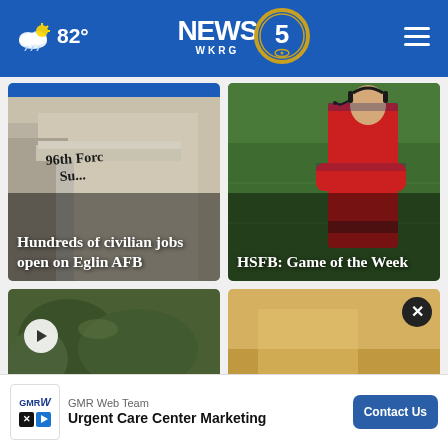NEWS 5 WKRG | 82°
[Figure (screenshot): News thumbnail: Building with '96th Force Su...' text, headline 'Hundreds of civilian jobs open on Eglin AFB']
[Figure (screenshot): News thumbnail: Football coach in red shirt with headset on green field, headline 'HSFB: Game of the Week']
[Figure (screenshot): News thumbnail: Outdoor scene with play button overlay]
[Figure (screenshot): News thumbnail: tan/gold background with close X button]
GMR Web Team
Urgent Care Center Marketing
Contact Us